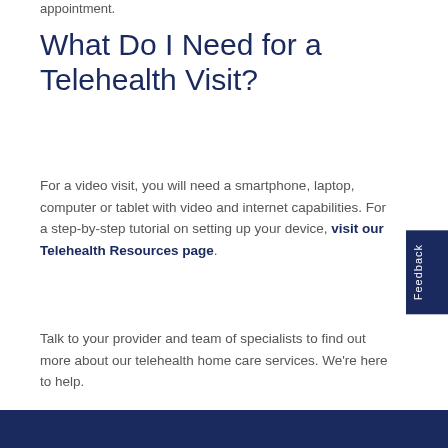appointment.
What Do I Need for a Telehealth Visit?
For a video visit, you will need a smartphone, laptop, computer or tablet with video and internet capabilities. For a step-by-step tutorial on setting up your device, visit our Telehealth Resources page.
Talk to your provider and team of specialists to find out more about our telehealth home care services. We’re here to help.